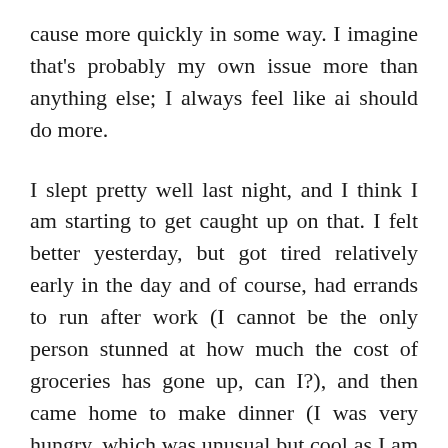cause more quickly in some way. I imagine that's probably my own issue more than anything else; I always feel like ai should do more.
I slept pretty well last night, and I think I am starting to get caught up on that. I felt better yesterday, but got tired relatively early in the day and of course, had errands to run after work (I cannot be the only person stunned at how much the cost of groceries has gone up, can I?), and then came home to make dinner (I was very hungry, which was unusual but cool as I am usually not hungry